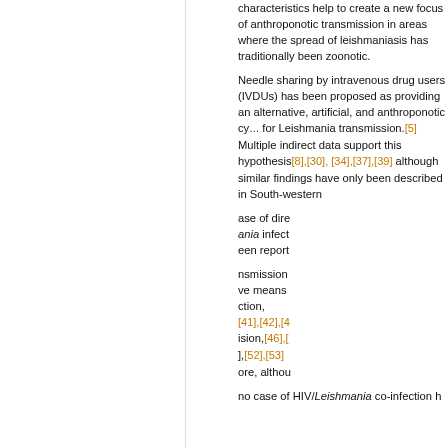characteristics help to create a new focus of anthroponotic transmission in areas where the spread of leishmaniasis has traditionally been zoonotic.
Needle sharing by intravenous drug users (IVDUs) has been proposed as providing an alternative, artificial, and anthroponotic cycle for Leishmania transmission.[5] Multiple indirect data support this hypothesis[8],[30],[34],[37],[39] although similar findings have only been described in South-western
...ase of dire...ania infect...een report...
...nsmission...ve means...ction, [41],[42],[4...ision,[46],[...],[52],[53]...ore, althou... no case of HIV/Leishmania co-infection h...
This website uses cookies. By continuing to use this website you are giving consent to cookies being used. For information on cookies and how you can disable them visit our Privacy and Cookie Policy.
AGREE & PROCEED